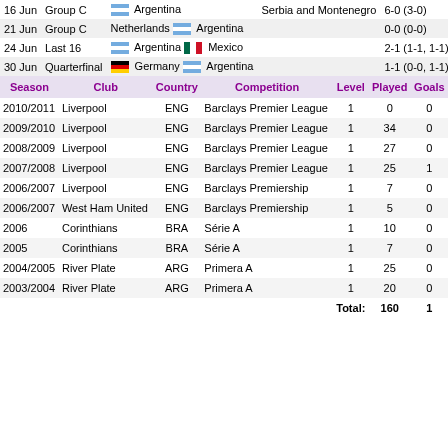| Date | Round | Team1 | Team2 | Score |
| --- | --- | --- | --- | --- |
| 16 Jun | Group C | Argentina | Serbia and Montenegro | 6-0 (3-0) |
| 21 Jun | Group C | Netherlands | Argentina | 0-0 (0-0) |
| 24 Jun | Last 16 | Argentina | Mexico | 2-1 (1-1, 1-1) AET |
| 30 Jun | Quarterfinal | Germany | Argentina | 1-1 (0-0, 1-1) 4-2p |
| Season | Club | Country | Competition | Level | Played | Goals |
| --- | --- | --- | --- | --- | --- | --- |
| 2010/2011 | Liverpool | ENG | Barclays Premier League | 1 | 0 | 0 |
| 2009/2010 | Liverpool | ENG | Barclays Premier League | 1 | 34 | 0 |
| 2008/2009 | Liverpool | ENG | Barclays Premier League | 1 | 27 | 0 |
| 2007/2008 | Liverpool | ENG | Barclays Premier League | 1 | 25 | 1 |
| 2006/2007 | Liverpool | ENG | Barclays Premiership | 1 | 7 | 0 |
| 2006/2007 | West Ham United | ENG | Barclays Premiership | 1 | 5 | 0 |
| 2006 | Corinthians | BRA | Série A | 1 | 10 | 0 |
| 2005 | Corinthians | BRA | Série A | 1 | 7 | 0 |
| 2004/2005 | River Plate | ARG | Primera A | 1 | 25 | 0 |
| 2003/2004 | River Plate | ARG | Primera A | 1 | 20 | 0 |